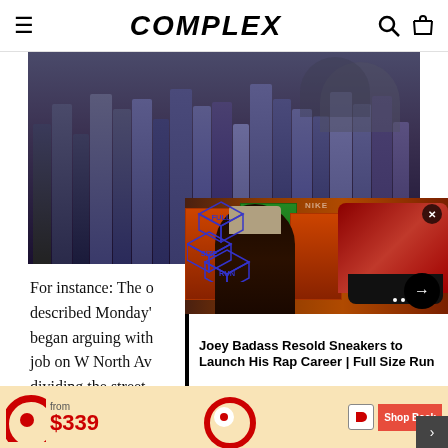COMPLEX
[Figure (photo): Police officers in riot gear forming a line, crowd control scene]
For instance: The officer described Monday's scene, began arguing with the job on W North Av dividing the street that a group of citizens had met with their own line of solid would
[Figure (screenshot): Full Size Run video thumbnail showing Joey Badass and sneakers with overlay logo]
Joey Badass Resold Sneakers to Launch His Rap Career | Full Size Run
[Figure (screenshot): Advertisement banner: Target store ad showing 'from $339' price]